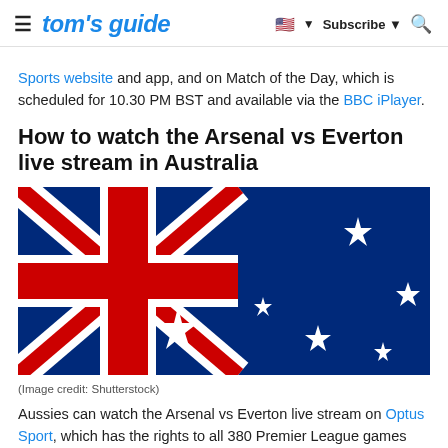tom's guide | Subscribe
Sports website and app, and on Match of the Day, which is scheduled for 10.30 PM BST and available via the BBC iPlayer.
How to watch the Arsenal vs Everton live stream in Australia
[Figure (photo): Australian flag image (Shutterstock)]
(Image credit: Shutterstock)
Aussies can watch the Arsenal vs Everton live stream on Optus Sport, which has the rights to all 380 Premier League games this season. Optus can be accessed via a dedicated mobile or tablet app, and